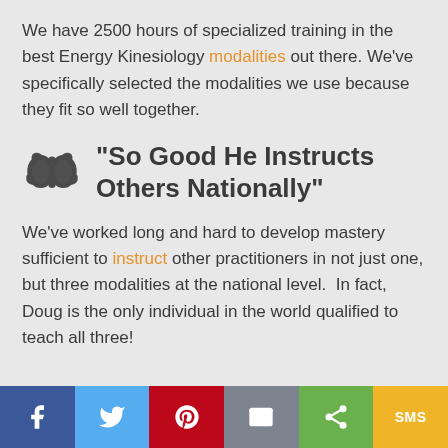We have 2500 hours of specialized training in the best Energy Kinesiology modalities out there. We've specifically selected the modalities we use because they fit so well together.
"So Good He Instructs Others Nationally"
We've worked long and hard to develop mastery sufficient to instruct other practitioners in not just one, but three modalities at the national level.  In fact, Doug is the only individual in the world qualified to teach all three!
[Figure (infographic): Social share button bar with icons for Facebook, Twitter, Pinterest, Email, Share, and SMS]